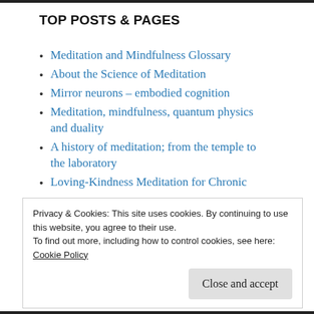TOP POSTS & PAGES
Meditation and Mindfulness Glossary
About the Science of Meditation
Mirror neurons – embodied cognition
Meditation, mindfulness, quantum physics and duality
A history of meditation; from the temple to the laboratory
Loving-Kindness Meditation for Chronic
Privacy & Cookies: This site uses cookies. By continuing to use this website, you agree to their use.
To find out more, including how to control cookies, see here:
Cookie Policy
Close and accept